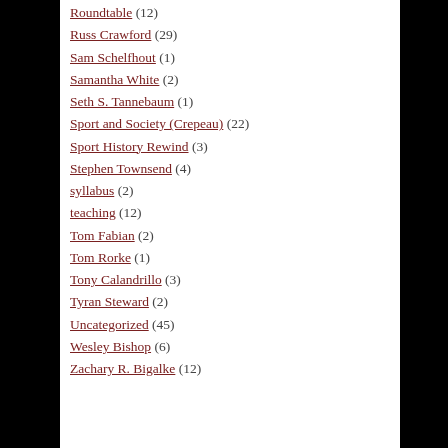Roundtable (12)
Russ Crawford (29)
Sam Schelfhout (1)
Samantha White (2)
Seth S. Tannebaum (1)
Sport and Society (Crepeau) (22)
Sport History Rewind (3)
Stephen Townsend (4)
syllabus (2)
teaching (12)
Tom Fabian (2)
Tom Rorke (1)
Tony Calandrillo (3)
Tyran Steward (2)
Uncategorized (45)
Wesley Bishop (6)
Zachary R. Bigalke (12)